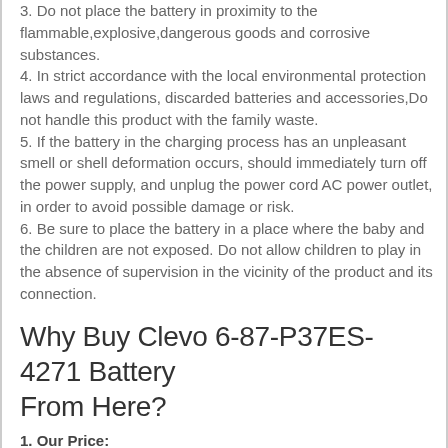3. Do not place the battery in proximity to the flammable,explosive,dangerous goods and corrosive substances.
4. In strict accordance with the local environmental protection laws and regulations, discarded batteries and accessories,Do not handle this product with the family waste.
5. If the battery in the charging process has an unpleasant smell or shell deformation occurs, should immediately turn off the power supply, and unplug the power cord AC power outlet, in order to avoid possible damage or risk.
6. Be sure to place the battery in a place where the baby and the children are not exposed. Do not allow children to play in the absence of supervision in the vicinity of the product and its connection.
Why Buy Clevo 6-87-P37ES-4271 Battery From Here?
1. Our Price: Save up to 30%, Online buying battery,you always hope get a preferential price. We make this sure by